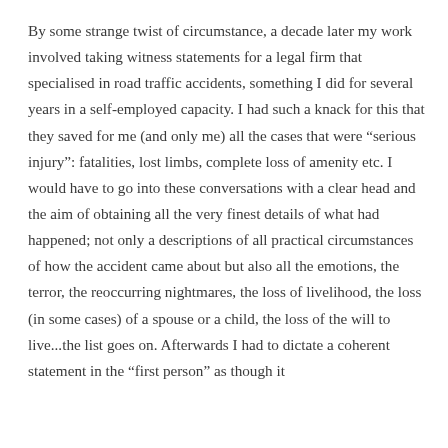By some strange twist of circumstance, a decade later my work involved taking witness statements for a legal firm that specialised in road traffic accidents, something I did for several years in a self-employed capacity. I had such a knack for this that they saved for me (and only me) all the cases that were “serious injury”: fatalities, lost limbs, complete loss of amenity etc. I would have to go into these conversations with a clear head and the aim of obtaining all the very finest details of what had happened; not only a descriptions of all practical circumstances of how the accident came about but also all the emotions, the terror, the reoccurring nightmares, the loss of livelihood, the loss (in some cases) of a spouse or a child, the loss of the will to live...the list goes on. Afterwards I had to dictate a coherent statement in the “first person” as though it